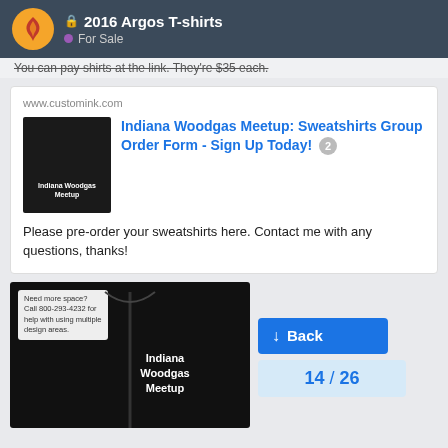2016 Argos T-shirts • For Sale
You can pay shirts at the link. They're $35 each.
www.customink.com
Indiana Woodgas Meetup: Sweatshirts Group Order Form - Sign Up Today! 2
Please pre-order your sweatshirts here. Contact me with any questions, thanks!
[Figure (photo): Black zip-up sweatshirt with Indiana Woodgas Meetup text printed on the chest]
Need more space? Call 800-293-4232 for help with using multiple design areas.
Back
14 / 26